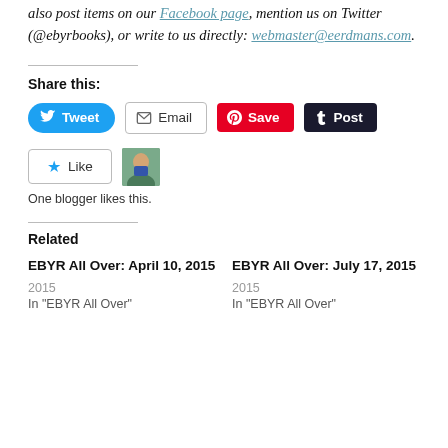also post items on our Facebook page, mention us on Twitter (@ebyrbooks), or write to us directly: webmaster@eerdmans.com.
Share this:
[Figure (other): Social sharing buttons: Tweet (Twitter), Email, Save (Pinterest), Post (Tumblr)]
[Figure (other): Like button with star icon and a blogger avatar. Text: One blogger likes this.]
Related
EBYR All Over: April 10, 2015
2015
In "EBYR All Over"
EBYR All Over: July 17, 2015
2015
In "EBYR All Over"